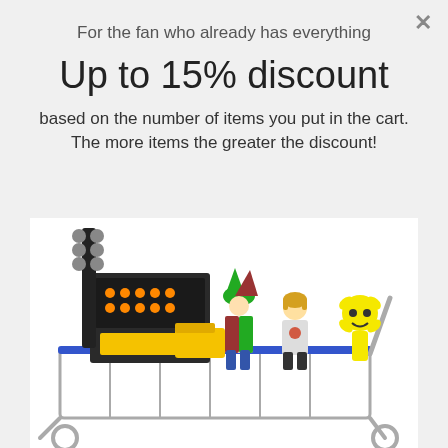For the fan who already has everything
Up to 15% discount
based on the number of items you put in the cart.
The more items the greater the discount!
[Figure (photo): LEGO minifigures and sets piled in a shopping cart, including a jester figure, a person figure, a yellow flower character, and various LEGO sets with a black and yellow color scheme.]